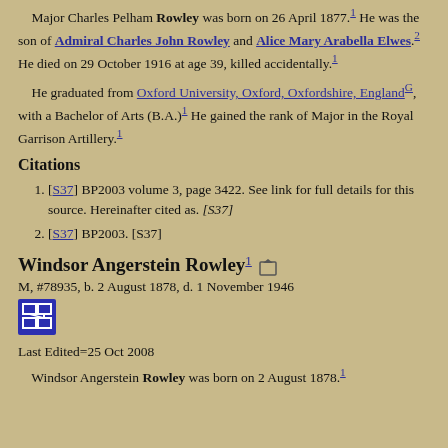Major Charles Pelham Rowley was born on 26 April 1877.[1] He was the son of Admiral Charles John Rowley and Alice Mary Arabella Elwes.[2] He died on 29 October 1916 at age 39, killed accidentally.[1]
He graduated from Oxford University, Oxford, Oxfordshire, England[G], with a Bachelor of Arts (B.A.)[1] He gained the rank of Major in the Royal Garrison Artillery.[1]
Citations
[S37] BP2003 volume 3, page 3422. See link for full details for this source. Hereinafter cited as. [S37]
[S37] BP2003. [S37]
Windsor Angerstein Rowley
M, #78935, b. 2 August 1878, d. 1 November 1946
Last Edited=25 Oct 2008
Windsor Angerstein Rowley was born on 2 August 1878.[1]